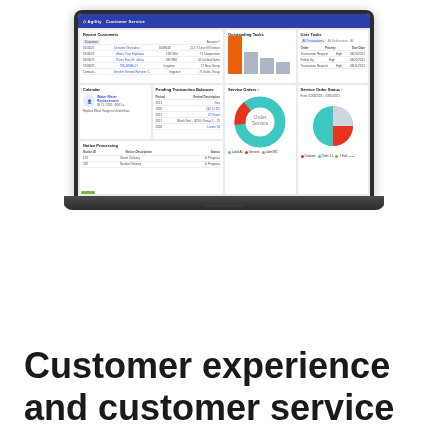[Figure (screenshot): Laptop computer displaying a customer service management dashboard with panels for Recent Customers, Outstanding Tasks, User Tasks, Calendar, Pending Transaction Balances, Service Orders (donut chart), Service Order Status (pie chart), and Notice Processing.]
Customer experience and customer service